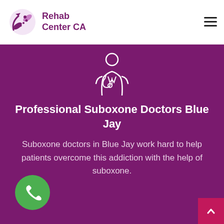[Figure (logo): Rehab Center CA logo with pill/capsule icon in purple]
[Figure (illustration): White line-art icon of a doctor with stethoscope on purple background]
Professional Suboxone Doctors Blue Jay
Suboxone doctors in Blue Jay work hard to help patients overcome this addiction with the help of suboxone.
[Figure (other): Green circular phone/WhatsApp button]
[Figure (other): Pink/magenta back-to-top button with chevron up arrow]